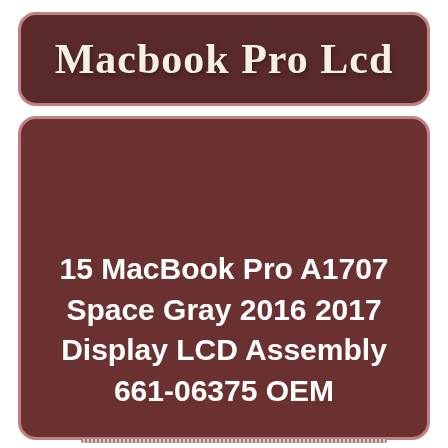Macbook Pro Lcd
15 MacBook Pro A1707 Space Gray 2016 2017 Display LCD Assembly 661-06375 OEM
[Figure (photo): Photo of a MacBook Pro laptop closed, showing the Space Gray aluminum lid with Apple logo, viewed from a slight angle.]